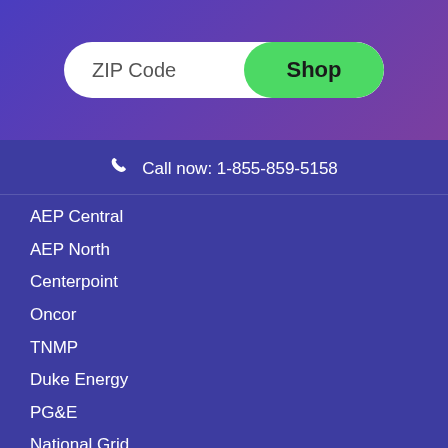[Figure (screenshot): ZIP Code input field with green Shop button]
Call now: 1-855-859-5158
AEP Central
AEP North
Centerpoint
Oncor
TNMP
Duke Energy
PG&E
National Grid
PSEG
Commonwealth Edison
AEP Ohio
Columbia Gas
Con Edison